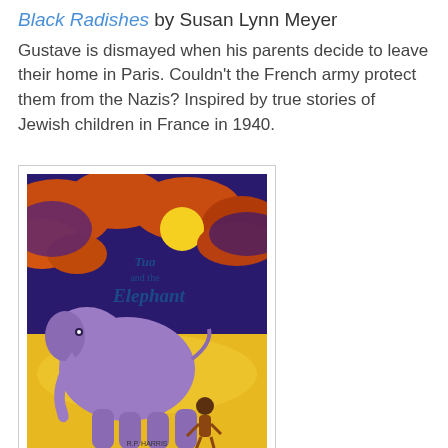Black Radishes by Susan Lynn Meyer
Gustave is dismayed when his parents decide to leave their home in Paris. Couldn't the French army protect them from the Nazis? Inspired by true stories of Jewish children in France in 1940.
[Figure (illustration): Book cover of 'Tua and the Elephant' showing a purple elephant and a small child in a golden/yellow jungle scene at night with moon]
Tua and the Elephant by R.P. Harris
When Tua finds an elephant that needs help, she embarks on a journey through her city of Chiang Mai, Thailand. Travel with Tua through the night market, a Buddhist temple, the river, and finally, to the elephant refuge. While not exactly